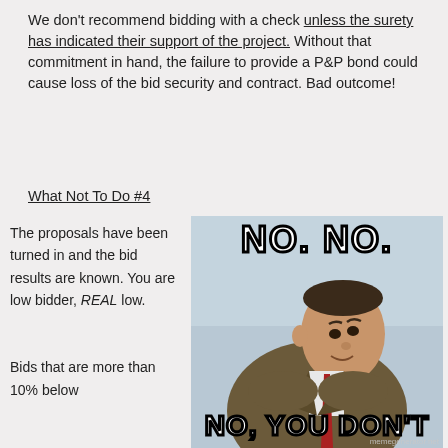We don't recommend bidding with a check unless the surety has indicated their support of the project.  Without that commitment in hand, the failure to provide a P&P bond could cause loss of the bid security and contract.  Bad outcome!
What Not To Do #4
The proposals have been turned in and the bid results are known. You are low bidder, REAL low.
[Figure (photo): Mr. Bean meme image with text 'NO. NO.' at the top and 'NO, YOU DON'T' at the bottom, watermark memegenerator.net]
Bids that are more than 10% below the average